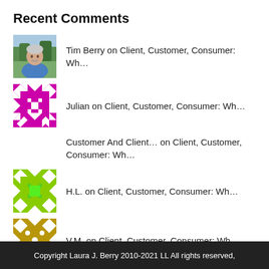Recent Comments
Tim Berry on Client, Customer, Consumer: Wh…
Julian on Client, Customer, Consumer: Wh…
Customer And Client… on Client, Customer, Consumer: Wh…
H.L. on Client, Customer, Consumer: Wh…
V.M. on Client, Customer, Consumer: Wh…
Copyright Laura J. Berry 2010-2021 LL All rights reserved,